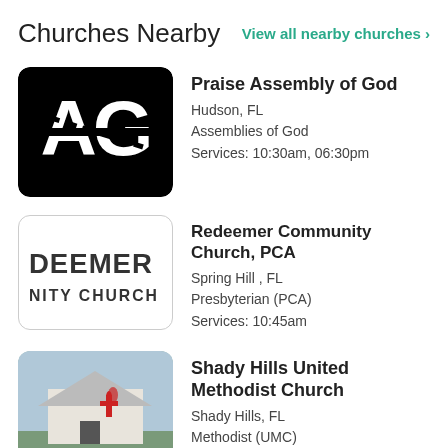Churches Nearby
View all nearby churches >
[Figure (logo): Assembly of God 'AG' logo — white stylized AG letters on black background with rounded corners]
Praise Assembly of God
Hudson, FL
Assemblies of God
Services: 10:30am, 06:30pm
[Figure (logo): Redeemer Community Church text logo — white background with bold text reading 'DEEMER' and 'NITY CHURCH' (partially visible/cropped)]
Redeemer Community Church, PCA
Spring Hill , FL
Presbyterian (PCA)
Services: 10:45am
[Figure (photo): Photo of Shady Hills United Methodist Church building — a white church building with a red United Methodist cross and flame symbol, green grass in foreground, sky background]
Shady Hills United Methodist Church
Shady Hills, FL
Methodist (UMC)
Services: 10:30am